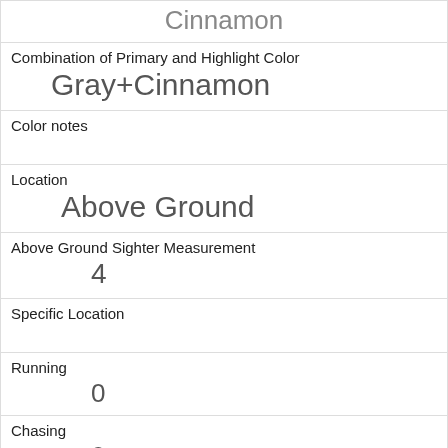| Cinnamon |
| Combination of Primary and Highlight Color | Gray+Cinnamon |
| Color notes |  |
| Location | Above Ground |
| Above Ground Sighter Measurement | 4 |
| Specific Location |  |
| Running | 0 |
| Chasing | 0 |
| Climbing | 1 |
| Eating | 0 |
| Foraging | 0 |